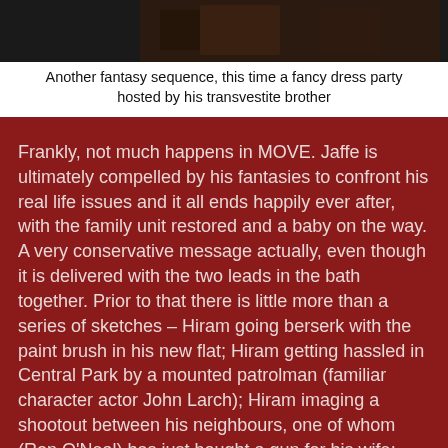[Figure (photo): A dark film still showing figures at what appears to be a fancy dress party]
Another fantasy sequence, this time a fancy dress party hosted by his transvestite brother
Frankly, not much happens in MOVE. Jaffe is ultimately compelled by his fantasies to confront his real life issues and it all ends happily ever after, with the family unit restored and a baby on the way. A very conservative message actually, even though it is delivered with the two leads in the bath together. Prior to that there is little more than a series of sketches – Hiram going berserk with the paint brush in his new flat; Hiram getting hassled in Central Park by a mounted patrolman (familiar character actor John Larch); Hiram imaging a shootout between his neighbours, one of whom (Ron O'Neal) has just bought a gun for his wife; recalling his wedding day; a family party. None is particularly amusing and the net result is a dissatisfying experience. Maybe it's for this reason that MOVE is another of those films I occasionally cover which is, or was, very difficult for me to get hold of. The print I did see was extremely ropey and the accomopanying stills reflect that.